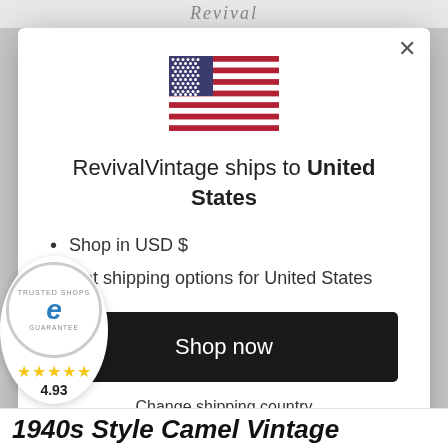Revival Vintage
[Figure (illustration): US flag emoji/illustration at top of modal dialog]
RevivalVintage ships to United States
Shop in USD $
Get shipping options for United States
Shop now
Change shipping country
[Figure (logo): Trusted Shops guarantee badge with 'e' logo, 4.93 rating and 5 gold stars]
1940s Style Camel Vintage